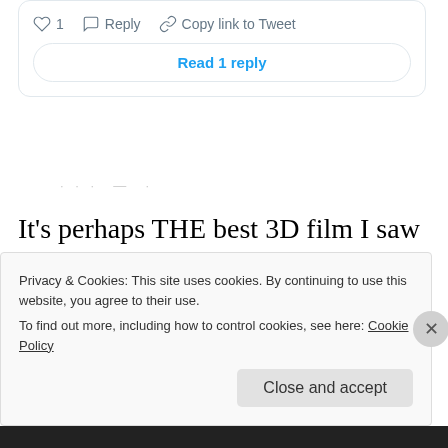[Figure (screenshot): Tweet action bar with heart icon showing 1 like, Reply button, and Copy link to Tweet option]
Read 1 reply
· · ·  —  ·
It's perhaps THE best 3D film I saw all year and it's one of those films that's best to experience on the big screen or even IMAX, I can't review
Privacy & Cookies: This site uses cookies. By continuing to use this website, you agree to their use.
To find out more, including how to control cookies, see here: Cookie Policy
Close and accept